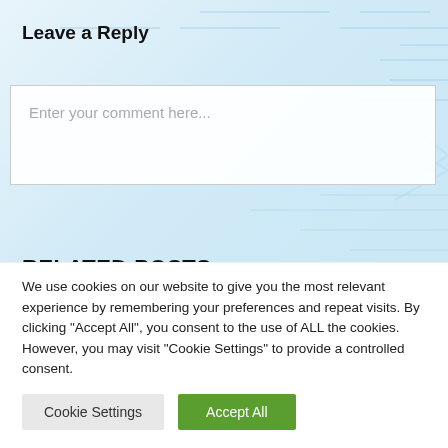Leave a Reply
Enter your comment here...
RELATED POSTS
[Figure (photo): Two image thumbnails for related posts — left thumbnail shows a green/dark image, right thumbnail shows a dark teal/blue header image]
We use cookies on our website to give you the most relevant experience by remembering your preferences and repeat visits. By clicking "Accept All", you consent to the use of ALL the cookies. However, you may visit "Cookie Settings" to provide a controlled consent.
Cookie Settings   Accept All